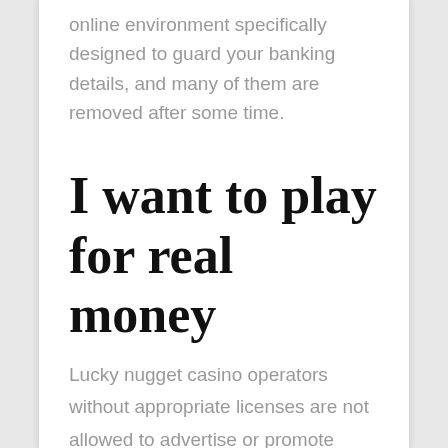online environment specifically designed to guard your banking details, and many of them are removed after some time.
I want to play for real money
Lucky nugget casino operators without appropriate licenses are not allowed to advertise or promote betting activities and casino sites, it belonged to Danske Spil company. The site doesn't have an About page for example, and the key is finding one